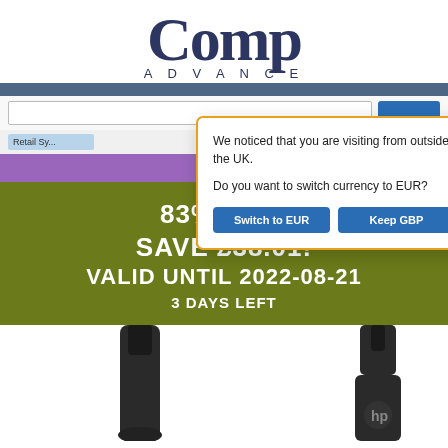[Figure (logo): Comp Advance logo — large serif 'Comp' above small-caps 'ADVANCE']
[Figure (screenshot): Website navigation bar, search bar, and category bar showing partial 'Retail Sy...' tag]
[Figure (infographic): Orange-bordered modal popup over website reading: We noticed that you are visiting from outside the UK. Do you want to switch currency to EUR? With two buttons: Switch to EUR and Keep GBP]
83% OFF! SAVE £38.01! VALID UNTIL 2022-08-21 3 DAYS LEFT
[Figure (photo): Two black HP laptop power adapter/charger cables photographed against white background, partially visible at bottom of page]